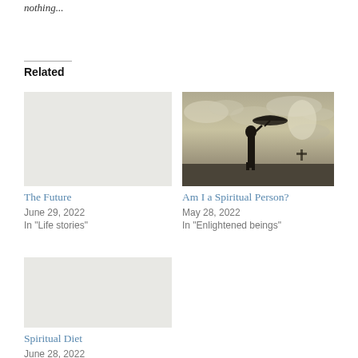nothing...
Related
[Figure (other): Empty placeholder image for 'The Future' article]
The Future
June 29, 2022
In "Life stories"
[Figure (photo): Silhouette of a person holding an umbrella against a dramatic cloudy sky]
Am I a Spiritual Person?
May 28, 2022
In "Enlightened beings"
[Figure (other): Empty placeholder image for 'Spiritual Diet' article]
Spiritual Diet
June 28, 2022